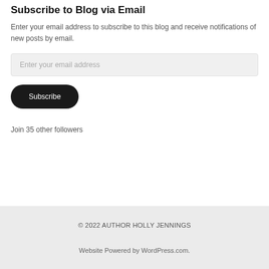Subscribe to Blog via Email
Enter your email address to subscribe to this blog and receive notifications of new posts by email.
Enter your email address
Subscribe
Join 35 other followers
© 2022 AUTHOR HOLLY JENNINGS
Website Powered by WordPress.com.